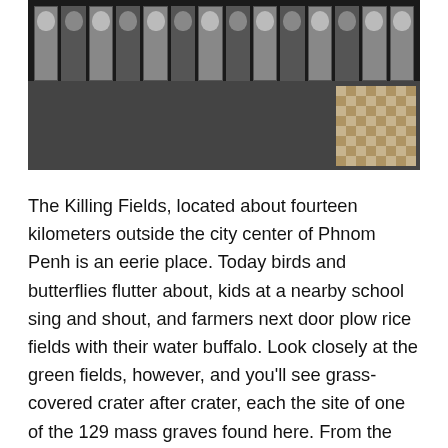[Figure (photo): Photograph of a wall displaying rows of black-and-white mug shot photographs of victims, with a tiled floor visible at the right edge. The image appears to be from the Tuol Sleng Genocide Museum in Phnom Penh, Cambodia.]
The Killing Fields, located about fourteen kilometers outside the city center of Phnom Penh is an eerie place. Today birds and butterflies flutter about, kids at a nearby school sing and shout, and farmers next door plow rice fields with their water buffalo. Look closely at the green fields, however, and you'll see grass-covered crater after crater, each the site of one of the 129 mass graves found here. From the ground, pieces of bone and tatters of clothing peek out, exposed by two decades of erosion. A monument in the middle contains the unearthed bones of some of the 9,000 victims found here. Buried alive, beaten to death with blunt objects, hacked to death with machetes, swung against trees until their skulls were smashed (in the case of babies), or sometimes mercifully